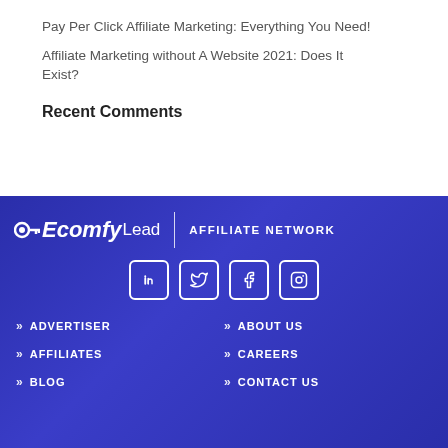Pay Per Click Affiliate Marketing: Everything You Need!
Affiliate Marketing without A Website 2021: Does It Exist?
Recent Comments
[Figure (logo): EcomfyLead Affiliate Network logo in white on dark blue background, with social media icons (LinkedIn, Twitter, Facebook, Instagram) below]
» ADVERTISER
» AFFILIATES
» BLOG
» ABOUT US
» CAREERS
» CONTACT US